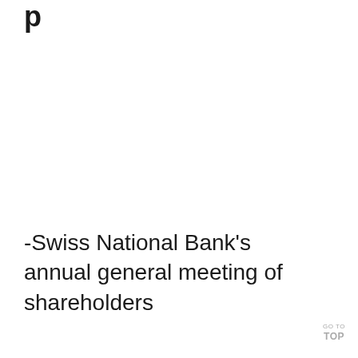p
-Swiss National Bank's annual general meeting of shareholders
GO TO TOP